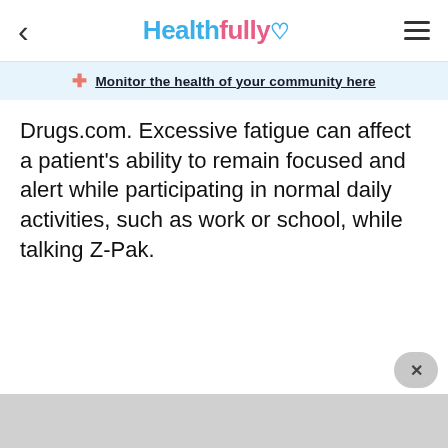Healthfully
Monitor the health of your community here
Drugs.com. Excessive fatigue can affect a patient's ability to remain focused and alert while participating in normal daily activities, such as work or school, while talking Z-Pak.